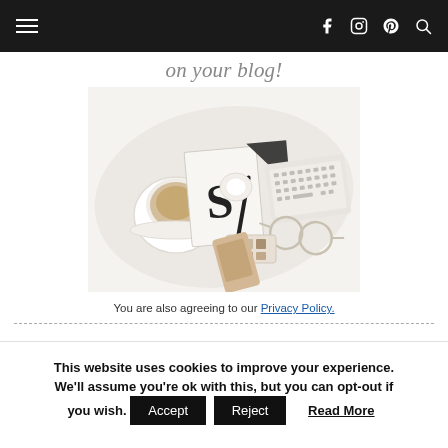Navigation bar with hamburger menu and social icons (f, instagram, pinterest, search)
on your blog!
[Figure (photo): Flat lay photo of a blogger's desk with coffee cup, glasses, notebook with letter S, keyboard, makeup palette, phone, and pen on white background]
You are also agreeing to our Privacy Policy.
This website uses cookies to improve your experience. We'll assume you're ok with this, but you can opt-out if you wish. Accept Reject Read More